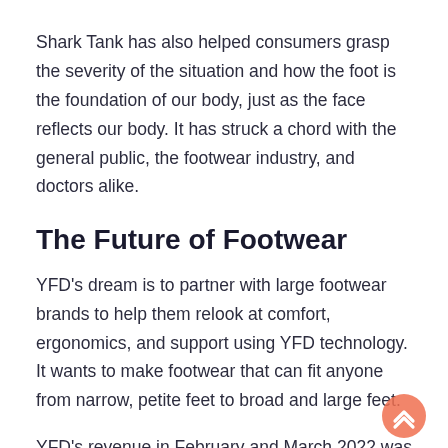Shark Tank has also helped consumers grasp the severity of the situation and how the foot is the foundation of our body, just as the face reflects our body. It has struck a chord with the general public, the footwear industry, and doctors alike.
The Future of Footwear
YFD's dream is to partner with large footwear brands to help them relook at comfort, ergonomics, and support using YFD technology. It wants to make footwear that can fit anyone from narrow, petite feet to broad and large feet.
YFD's revenue in February and March 2022 was 10